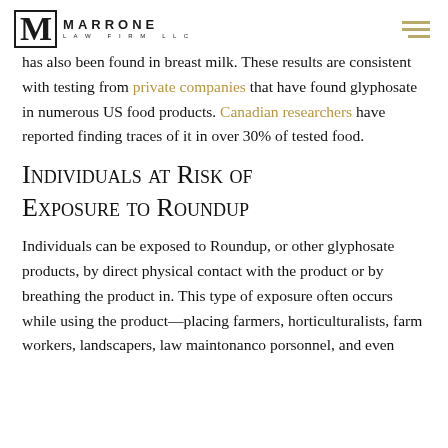MARRONE LAW FIRM LLC
has also been found in breast milk. These results are consistent with testing from private companies that have found glyphosate in numerous US food products. Canadian researchers have reported finding traces of it in over 30% of tested food.
Individuals at Risk of Exposure to Roundup
Individuals can be exposed to Roundup, or other glyphosate products, by direct physical contact with the product or by breathing the product in. This type of exposure often occurs while using the product—placing farmers, horticulturalists, farm workers, landscapers, law maintenance personnel, and even